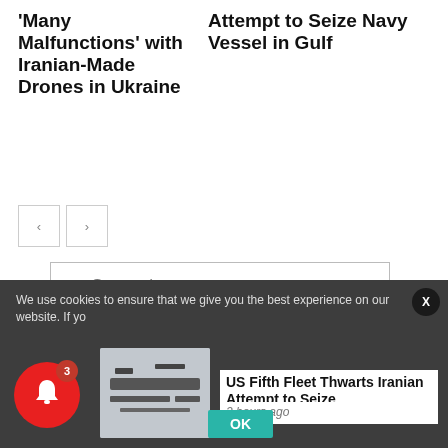'Many Malfunctions' with Iranian-Made Drones in Ukraine
Attempt to Seize Navy Vessel in Gulf
you@example.com
Subscribe to our Email List
We use cookies to ensure that we give you the best experience on our website. If yo
X
[Figure (photo): Thumbnail image of a navy vessel]
US Fifth Fleet Thwarts Iranian Attempt to Seize
2 hours ago
OK
3